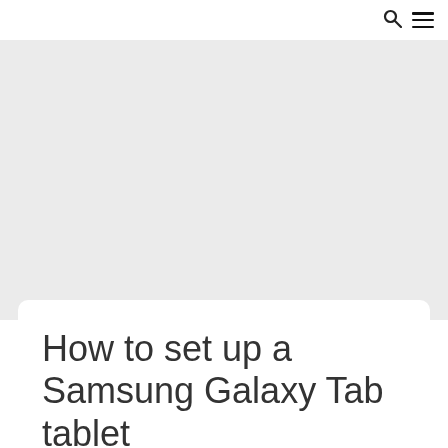🔍 ☰
[Figure (other): Gray placeholder image area filling the upper portion of the page below the navigation header]
How to set up a Samsung Galaxy Tab tablet